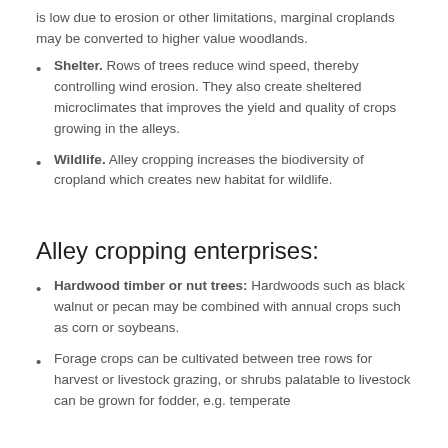is low due to erosion or other limitations, marginal croplands may be converted to higher value woodlands.
Shelter. Rows of trees reduce wind speed, thereby controlling wind erosion. They also create sheltered microclimates that improves the yield and quality of crops growing in the alleys.
Wildlife. Alley cropping increases the biodiversity of cropland which creates new habitat for wildlife.
Alley cropping enterprises:
Hardwood timber or nut trees: Hardwoods such as black walnut or pecan may be combined with annual crops such as corn or soybeans.
Forage crops can be cultivated between tree rows for harvest or livestock grazing, or shrubs palatable to livestock can be grown for fodder, e.g. temperate